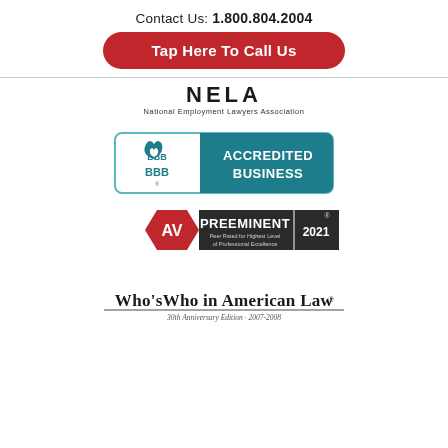Contact Us: 1.800.804.2004
Tap Here To Call Us
[Figure (logo): NELA - National Employment Lawyers Association logo]
[Figure (logo): BBB Accredited Business badge]
[Figure (logo): AV Preeminent - Peer Rated for Highest Level of Professional Excellence 2021 badge]
[Figure (logo): Who's Who in American Law - 30th Anniversary Edition 2007-2008]